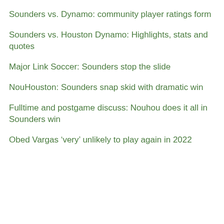Sounders vs. Dynamo: community player ratings form
Sounders vs. Houston Dynamo: Highlights, stats and quotes
Major Link Soccer: Sounders stop the slide
NouHouston: Sounders snap skid with dramatic win
Fulltime and postgame discuss: Nouhou does it all in Sounders win
Obed Vargas ‘very’ unlikely to play again in 2022